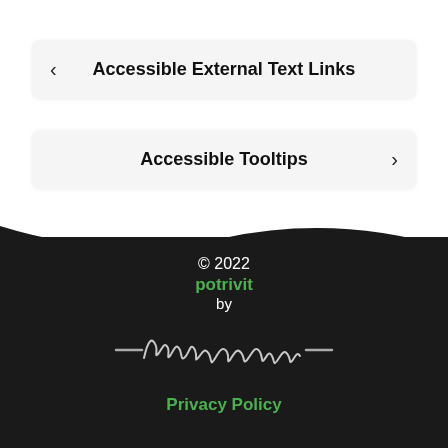< Accessible External Text Links
Accessible Tooltips >
© 2022
potrivit
by
[Figure (illustration): Handwritten signature reading 'markjivno' with decorative dashes on each side]
Privacy Policy